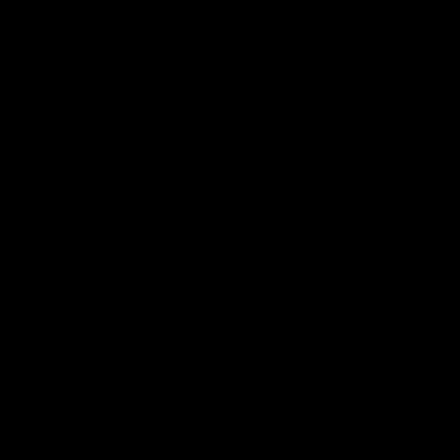August 2018
July 2018
June 2018
May 2018
April 2018
March 2018
February 2018
January 2018
December 2017
November 2017
October 2017
September 2017
August 2017
July 2017
June 2017
May 2017
April 2017
March 2017
February 2017
December 2016
November 2016
October 2016
September 2016
[Figure (screenshot): Video thumbnail for Silent Hill with avatar icon and title overlay]
Finally, courtesy of Ji... up our allery: Report: The Pines.
Podcast: Play in new...